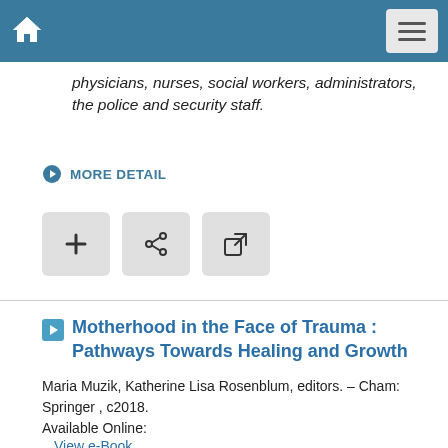Navigation bar with home icon and menu button
physicians, nurses, social workers, administrators, the police and security staff.
MORE DETAIL
[Figure (screenshot): Action icon buttons: plus, share, and external link]
Motherhood in the Face of Trauma : Pathways Towards Healing and Growth
Maria Muzik, Katherine Lisa Rosenblum, editors. – Cham: Springer , c2018.
Available Online:
View e-Book